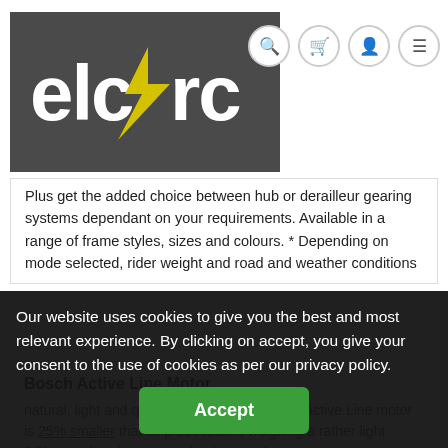[Figure (logo): elcArc logo on dark grey background with yellow lightning bolt replacing the letter 'o']
Plus get the added choice between hub or derailleur gearing systems dependant on your requirements. Available in a range of frame styles, sizes and colours. * Depending on mode selected, rider weight and road and weather conditions
Bosch Active Line Motor
natural, light and quiet. The factory-designed Active Line motor is 25% smaller that its predecessor, weighing a rather light 2.9kgs and is almost completely noise free so you can get
Our website uses cookies to give you the best and most relevant experience. By clicking on accept, you give your consent to the use of cookies as per our privacy policy.
Accept